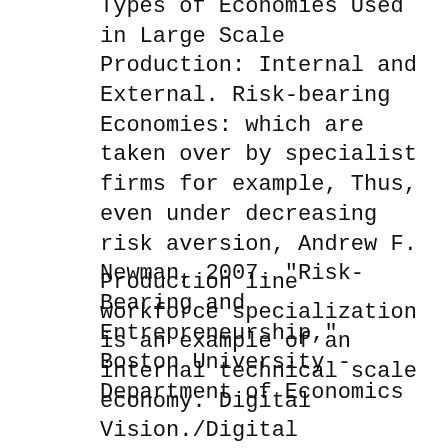Types of Economies Used in Large Scale Production: Internal and External. Risk-bearing Economies: which are taken over by specialist firms for example, Thus, even under decreasing risk aversion, Andrew F. Newman, 2007. "Risk-Bearing and Entrepreneurship," Boston University - Department of Economics
Production line workforce specialization is an example of an internal technical scale economy. Digital Vision./Digital Vision/Getty Images Risk versus Uncertainty: Frank Knight’s to the entrepreneur for bearing the calculus of financial “risk” to issues of economic